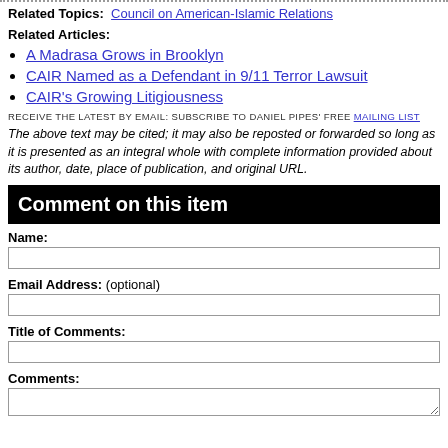Related Topics: Council on American-Islamic Relations
Related Articles:
A Madrasa Grows in Brooklyn
CAIR Named as a Defendant in 9/11 Terror Lawsuit
CAIR's Growing Litigiousness
RECEIVE THE LATEST BY EMAIL: SUBSCRIBE TO DANIEL PIPES' FREE MAILING LIST
The above text may be cited; it may also be reposted or forwarded so long as it is presented as an integral whole with complete information provided about its author, date, place of publication, and original URL.
Comment on this item
Name:
Email Address: (optional)
Title of Comments:
Comments: